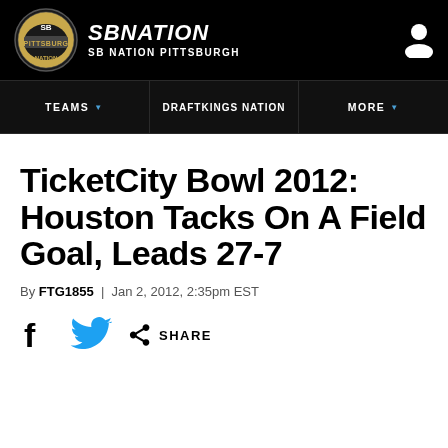SB NATION / SB NATION PITTSBURGH
TicketCity Bowl 2012: Houston Tacks On A Field Goal, Leads 27-7
By FTG1855 | Jan 2, 2012, 2:35pm EST
SHARE